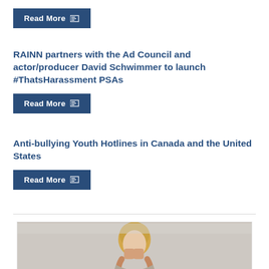Read More
RAINN partners with the Ad Council and actor/producer David Schwimmer to launch #ThatsHarassment PSAs
Read More
Anti-bullying Youth Hotlines in Canada and the United States
Read More
[Figure (photo): Blonde woman with hands covering her face, appearing distressed, against a light background]